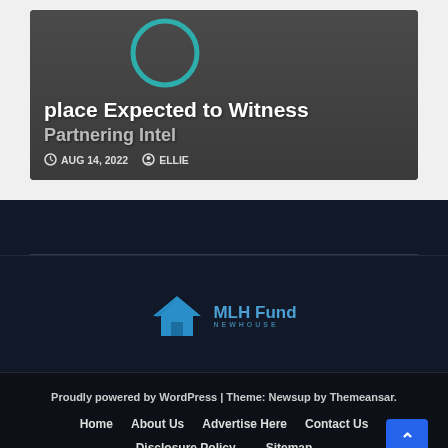[Figure (screenshot): Article card with dark grey background showing partial title text 'place Expected to Witness' and 'Partnering Intel' with a teal circle graphic, dated AUG 14, 2022, authored by ELLIE]
[Figure (logo): MLH Fund logo with blue house icon and text 'MLH Fund' with tagline 'NEWHOUSE' in blue]
Proudly powered by WordPress | Theme: Newsup by Themeansar.
Home   About Us   Advertise Here   Contact Us   Disclosure Policy   Sitemap